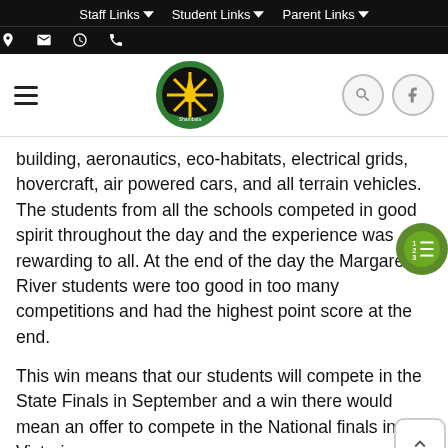Staff Links  Student Links  Parent Links
[Figure (logo): School logo — circular emblem with green border and yellow/black design in centre, with 'Shambala' or similar text on banner]
building, aeronautics, eco-habitats, electrical grids, hovercraft, air powered cars, and all terrain vehicles. The students from all the schools competed in good spirit throughout the day and the experience was rewarding to all. At the end of the day the Margaret River students were too good in too many competitions and had the highest point score at the end.
This win means that our students will compete in the State Finals in September and a win there would mean an offer to compete in the National finals in Victoria.